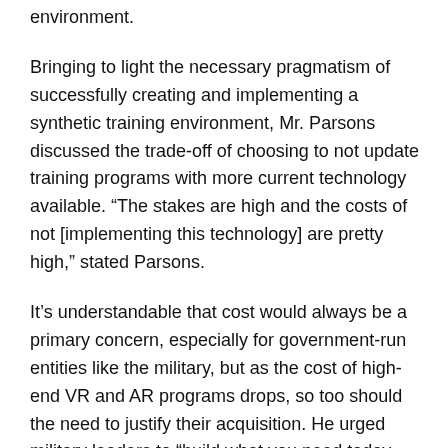environment.
Bringing to light the necessary pragmatism of successfully creating and implementing a synthetic training environment, Mr. Parsons discussed the trade-off of choosing to not update training programs with more current technology available. “The stakes are high and the costs of not [implementing this technology] are pretty high,” stated Parsons.
It’s understandable that cost would always be a primary concern, especially for government-run entities like the military, but as the cost of high-end VR and AR programs drops, so too should the need to justify their acquisition. He urged military leaders to “build what you need today. Don’t try to predict what you’ll need in the future.”
The panel shone a light on two important military use cases